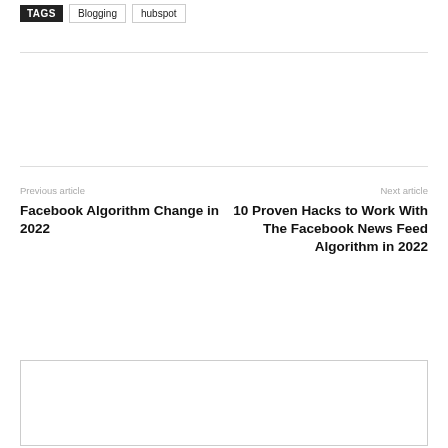TAGS  Blogging  hubspot
Previous article
Facebook Algorithm Change in 2022
Next article
10 Proven Hacks to Work With The Facebook News Feed Algorithm in 2022